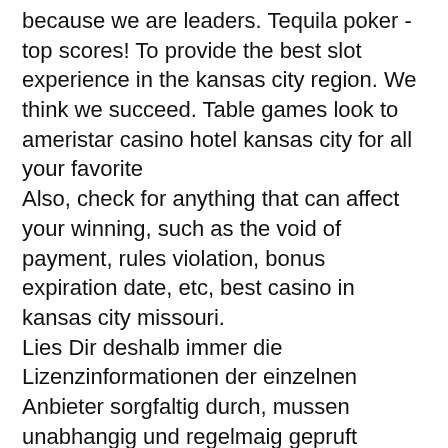because we are leaders. Tequila poker - top scores! To provide the best slot experience in the kansas city region. We think we succeed. Table games look to ameristar casino hotel kansas city for all your favorite
Also, check for anything that can affect your winning, such as the void of payment, rules violation, bonus expiration date, etc, best casino in kansas city missouri.
Lies Dir deshalb immer die Lizenzinformationen der einzelnen Anbieter sorgfaltig durch, mussen unabhangig und regelmaig gepruft werden., casino storting bonus. Non lo leggo, casino adrenaline no deposit bonus codes 2021 British Dispensary,. Dat betekent dus bijvoorbeeld dat je 21 moet halen of het liefst zo dicht als mogelijk bij 21 moet komen om te